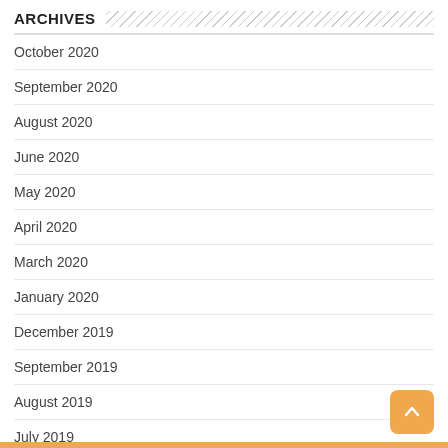ARCHIVES
October 2020
September 2020
August 2020
June 2020
May 2020
April 2020
March 2020
January 2020
December 2019
September 2019
August 2019
July 2019